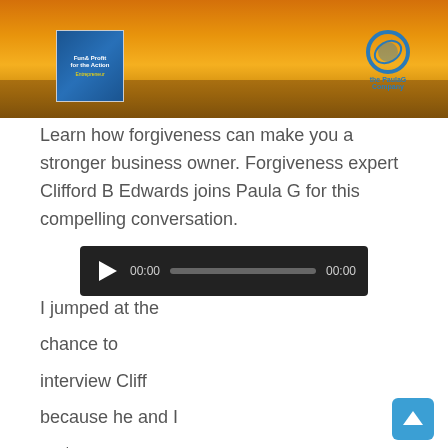[Figure (illustration): Banner image showing a sunset over water with a book cover on the left and a circular logo on the right]
Learn how forgiveness can make you a stronger business owner. Forgiveness expert Clifford B Edwards joins Paula G for this compelling conversation.
[Figure (screenshot): Audio player widget with play button, time displays showing 00:00 and 00:00, and a progress bar on dark background]
I jumped at the
chance to
interview Cliff
because he and I
met years ago
when I was being